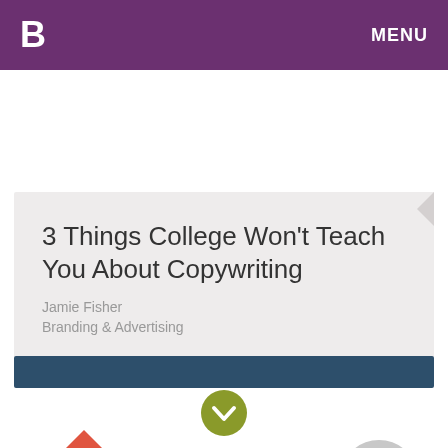B  MENU
3 Things College Won’t Teach You About Copywriting
Jamie Fisher
Branding & Advertising
[Figure (infographic): Dark blue bar with green chevron/download circle icon below it, and partial colored shapes at bottom of page]